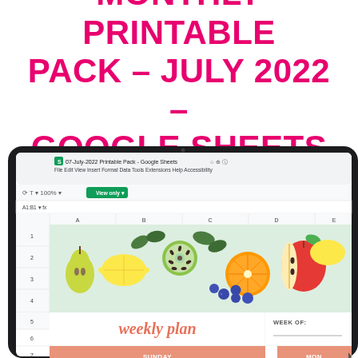MONTHLY PRINTABLE PACK – JULY 2022 – GOOGLE SHEETS
[Figure (screenshot): A tablet/laptop displaying a Google Sheets spreadsheet titled '07-July-2022 Printable Pack - Google Sheets'. The sheet shows a colorful fruit-themed banner with illustrations of lemons, oranges, kiwi, apples, pears, and blueberries. Below the banner is a 'weekly plan' header in coral/salmon italic script, with a 'WEEK OF:' label to the right. Below that is a row showing 'SUNDAY' and partially visible 'MON' day cells in a salmon/coral color.]